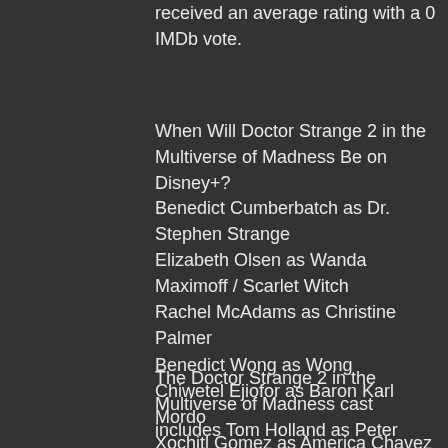received an average rating with a 0 IMDb vote.
When Will Doctor Strange 2 in the Multiverse of Madness Be on Disney+?
Benedict Cumberbatch as Dr. Stephen Strange
Elizabeth Olsen as Wanda Maximoff / Scarlet Witch
Rachel McAdams as Christine Palmer
Benedict Wong as Wong
Chiwetel Ejiofor as Baron Karl Mordo
Xochitl Gomez as America Chavez
Michael Stuhlbarg as Nicodemus West
Patrick Stewart as Professor Charles Xavier
The Doctor Strange 2 in the Multiverse of Madness cast includes Tom Holland as Peter Parker/Doctor Strange 2 in the Multiverse of Madness, Zendaya as MJ, and Jacob Batalon as Ned Leeds. The Doctor Strange 2...